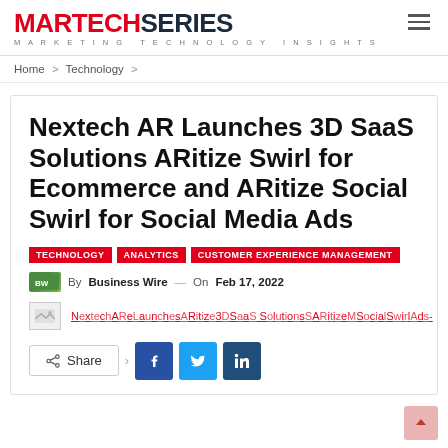MARTECH SERIES - MARKETING TECHNOLOGY INSIGHTS
Home > Technology >
Nextech AR Launches 3D SaaS Solutions ARitize Swirl for Ecommerce and ARitize Social Swirl for Social Media Ads
TECHNOLOGY   ANALYTICS   CUSTOMER EXPERIENCE MANAGEMENT
By Business Wire — On Feb 17, 2022
[Figure (other): Broken image placeholder with red link text: Nextech AR Launches 3D SaaS Solutions ARitize Social Swirl Ads]
Share (social share buttons: Facebook, Twitter, LinkedIn)